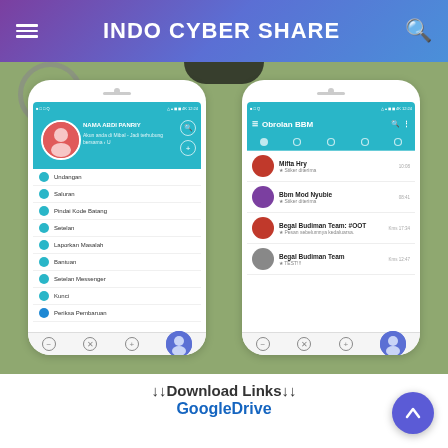INDO CYBER SHARE
[Figure (screenshot): Two Android smartphone screenshots showing BBM (BlackBerry Messenger) mod app. Left phone shows a side menu with profile header and menu items: Undangan, Saluran, Pindai Kode Batang, Setelan, Laporkan Masalah, Bantuan, Setelan Messenger, Kunci, Periksa Pembaruan. Right phone shows 'Obrolan BBM' chat list with contacts: Mifta Hry (Stiker diterima), Bbm Mod Nyubie (Stiker diterima), Begal Budiman Team #OOT (Pesan sebelumnya kedaluarsa), Begal Budiman Team (TEST!!).]
↓↓Download Links↓↓
GoogleDrive